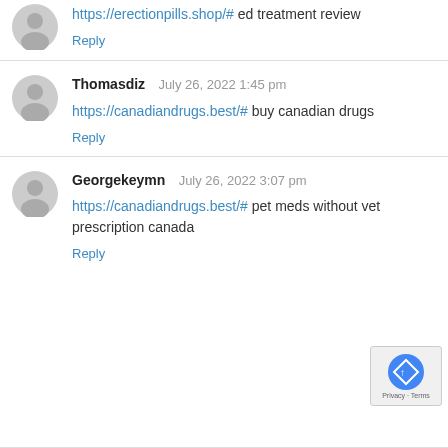https://erectionpills.shop/# ed treatment review
Reply
Thomasdiz   July 26, 2022 1:45 pm
https://canadiandrugs.best/# buy canadian drugs
Reply
Georgekeymn   July 26, 2022 3:07 pm
https://canadiandrugs.best/# pet meds without vet prescription canada
Reply